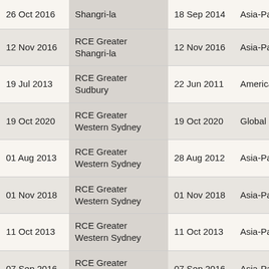| 26 Oct 2016 | Shangri-la | 18 Sep 2014 | Asia-Pacific |
| 12 Nov 2016 | RCE Greater Shangri-la | 12 Nov 2016 | Asia-Pacific |
| 19 Jul 2013 | RCE Greater Sudbury | 22 Jun 2011 | Americas |
| 19 Oct 2020 | RCE Greater Western Sydney | 19 Oct 2020 | Global |
| 01 Aug 2013 | RCE Greater Western Sydney | 28 Aug 2012 | Asia-Pacific |
| 01 Nov 2018 | RCE Greater Western Sydney | 01 Nov 2018 | Asia-Pacific |
| 11 Oct 2013 | RCE Greater Western Sydney | 11 Oct 2013 | Asia-Pacific |
| 07 Sep 2016 | RCE Greater Western Sydney | 07 Sep 2016 | Asia-Pacific |
| 26 Oct 2016 | RCE Greater Western Sydney | 08 Sep 2014 | Asia-Pacific |